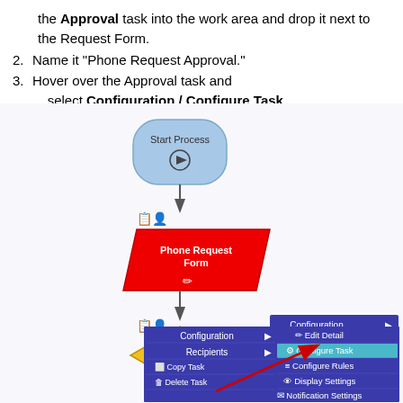the Approval task into the work area and drop it next to the Request Form.
2. Name it "Phone Request Approval."
3. Hover over the Approval task and select Configuration / Configure Task
[Figure (flowchart): A flowchart showing Start Process node connected to Phone Request Form (red diamond), then to Phone Request Approval (yellow diamond). A context menu is shown with Configuration > Configure Task highlighted in blue, along with other options: Edit Detail, Configure Rules, Display Settings, Notification Settings. A red arrow points to Configure Task.]